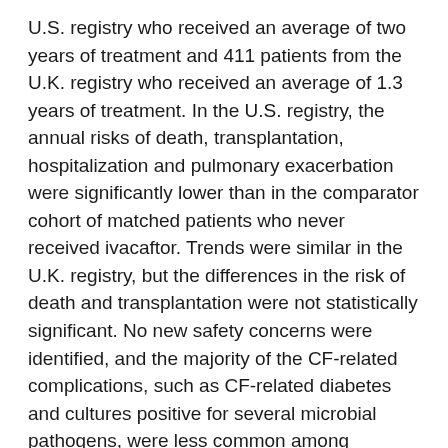U.S. registry who received an average of two years of treatment and 411 patients from the U.K. registry who received an average of 1.3 years of treatment. In the U.S. registry, the annual risks of death, transplantation, hospitalization and pulmonary exacerbation were significantly lower than in the comparator cohort of matched patients who never received ivacaftor. Trends were similar in the U.K. registry, but the differences in the risk of death and transplantation were not statistically significant. No new safety concerns were identified, and the majority of the CF-related complications, such as CF-related diabetes and cultures positive for several microbial pathogens, were less common among ivacaftor-treated than untreated patients in both the U.S. and U.K. registries. Long-term follow-up data from both registries indicate clinically important outcomes in patients treated with ivacaftor in real-world settings across multiple measures of CF that are indicative of disease modification.
Phase 3 safety study of lumacaftor/ivacaftor in children ages